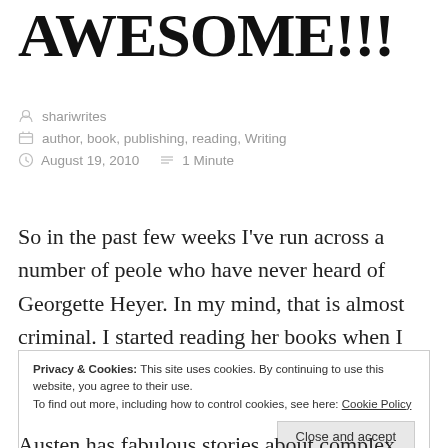AWESOME!!!
shariwrites
author, book, publishing, reading, Writing
August 19, 2010   1 Minute
So in the past few weeks I've run across a number of peole who have never heard of Georgette Heyer. In my mind, that is almost criminal. I started reading her books when I was in high school. My mom gave them to me because she'd read them in high school.
Privacy & Cookies: This site uses cookies. By continuing to use this website, you agree to their use.
To find out more, including how to control cookies, see here: Cookie Policy
Close and accept
Austen has fabulous stories about complex